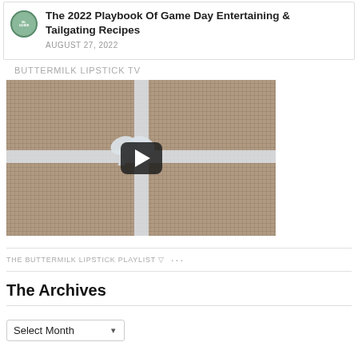[Figure (illustration): Blog post card with circular logo and title 'The 2022 Playbook Of Game Day Entertaining & Tailgating Recipes' dated August 27, 2022]
BUTTERMILK LIPSTICK TV
[Figure (screenshot): Video thumbnail showing burlap fabric with white ribbon bow and a play button overlay]
THE BUTTERMILK LIPSTICK PLAYLIST ▽ ...
The Archives
[Figure (other): Select Month dropdown menu]